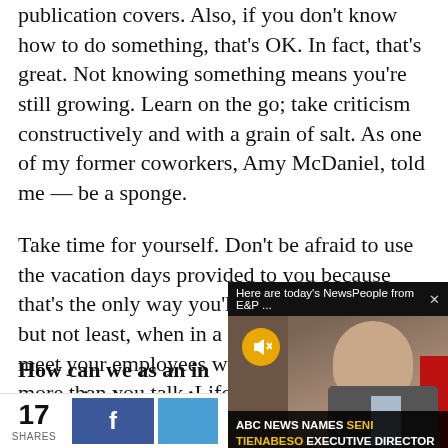publication covers. Also, if you don't know how to do something, that's OK. In fact, that's great. Not knowing something means you're still growing. Learn on the go; take criticism constructively and with a grain of salt. As one of my former coworkers, Amy McDaniel, told me — be a sponge.
Take time for yourself. Don't be afraid to use the vacation days provided to you because that's the only way you'll stay sane. And last but not least, when in a managerial position, meet your employees where they are and listen more than you talk. Life is hard... understanding.
How can we as an in... strategies in coveri...
[Figure (screenshot): Video notification overlay: 'Here are today's NewsPeople from E&P ...' with close button X, a video thumbnail showing a person in a suit with a mute button (yellow circle with speaker icon), and a caption 'ABC NEWS NAMES SENI TIENABESO EXECUTIVE DIRECTOR OF ABC NEWS LIVE' with the name in yellow text.]
17 SHARES
[Figure (screenshot): Social share bar with 17 shares count, Facebook share button (blue with f icon), and another blue button.]